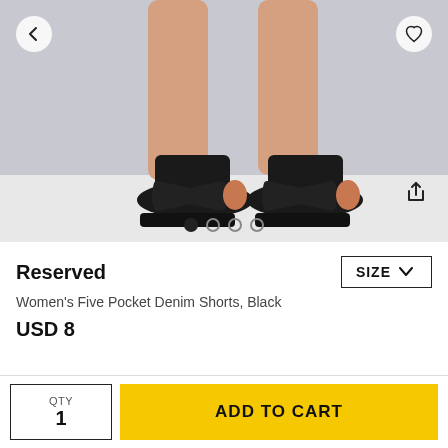[Figure (photo): Product photo of black high-heel platform sandals worn on a model's feet, on a white/gray background. Navigation arrows and heart/share icons overlay the image. Four dot pagination indicators at the bottom.]
Reserved
Women's Five Pocket Denim Shorts, Black
USD 8
QTY
1
ADD TO CART